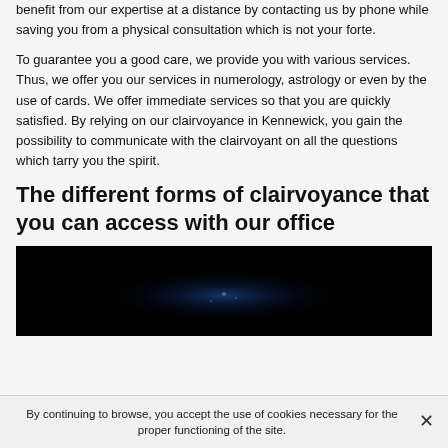benefit from our expertise at a distance by contacting us by phone while saving you from a physical consultation which is not your forte.
To guarantee you a good care, we provide you with various services. Thus, we offer you our services in numerology, astrology or even by the use of cards. We offer immediate services so that you are quickly satisfied. By relying on our clairvoyance in Kennewick, you gain the possibility to communicate with the clairvoyant on all the questions which tarry you the spirit.
The different forms of clairvoyance that you can access with our office
[Figure (photo): Dark/black image with faint blue light or glow in the center, possibly a mystical or night sky themed photo.]
By continuing to browse, you accept the use of cookies necessary for the proper functioning of the site.